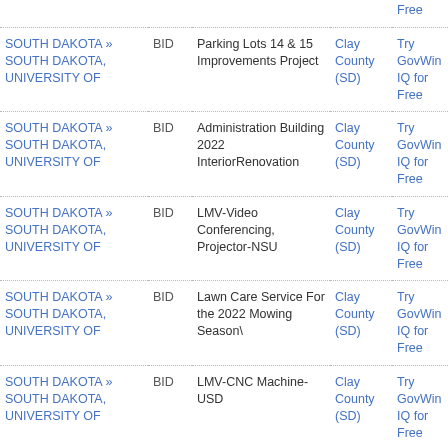| Agency | Type | Title | Location | Action |
| --- | --- | --- | --- | --- |
| SOUTH DAKOTA » SOUTH DAKOTA, UNIVERSITY OF | BID | Parking Lots 14 & 15 Improvements Project | Clay County (SD) | Try GovWin IQ for Free |
| SOUTH DAKOTA » SOUTH DAKOTA, UNIVERSITY OF | BID | Administration Building 2022 InteriorRenovation | Clay County (SD) | Try GovWin IQ for Free |
| SOUTH DAKOTA » SOUTH DAKOTA, UNIVERSITY OF | BID | LMV-Video Conferencing, Projector-NSU | Clay County (SD) | Try GovWin IQ for Free |
| SOUTH DAKOTA » SOUTH DAKOTA, UNIVERSITY OF | BID | Lawn Care Service For the 2022 Mowing Season\ | Clay County (SD) | Try GovWin IQ for Free |
| SOUTH DAKOTA » SOUTH DAKOTA, UNIVERSITY OF | BID | LMV-CNC Machine-USD | Clay County (SD) | Try GovWin IQ for Free |
| SOUTH DAKOTA » SOUTH DAKOTA, UNIVERSITY OF | BID | RMT USD Motor Coach Services for FY23-FY25 | Clay County (SD) | Try GovWin IQ for Free |